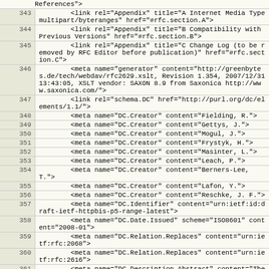References">
343     <link rel="Appendix" title="A Internet Media Type multipart/byteranges" href="#rfc.section.A">
344     <link rel="Appendix" title="B Compatibility with Previous Versions" href="#rfc.section.B">
345     <link rel="Appendix" title="C Change Log (to be removed by RFC Editor before publication)" href="#rfc.section.C">
346     <meta name="generator" content="http://greenbytes.de/tech/webdav/rfc2629.xslt, Revision 1.354, 2007/12/31 13:43:05, XSLT vendor: SAXON 8.9 from Saxonica http://www.saxonica.com/">
347     <link rel="schema.DC" href="http://purl.org/dc/elements/1.1/">
348     <meta name="DC.Creator" content="Fielding, R.">
349     <meta name="DC.Creator" content="Gettys, J.">
350     <meta name="DC.Creator" content="Mogul, J.">
351     <meta name="DC.Creator" content="Frystyk, H.">
352     <meta name="DC.Creator" content="Masinter, L.">
353     <meta name="DC.Creator" content="Leach, P.">
354     <meta name="DC.Creator" content="Berners-Lee, T.">
355     <meta name="DC.Creator" content="Lafon, Y.">
356     <meta name="DC.Creator" content="Reschke, J. F.">
357     <meta name="DC.Identifier" content="urn:ietf:id:draft-ietf-httpbis-p5-range-latest">
358     <meta name="DC.Date.Issued" scheme="ISO8601" content="2008-01">
359     <meta name="DC.Relation.Replaces" content="urn:ietf:rfc:2068">
360     <meta name="DC.Relation.Replaces" content="urn:ietf:rfc:2616">
361     <meta name="DC.Description.Abstract" content="The Hypertext Transfer Protocol (HTTP) is an application-level protocol for distributed, collaborative